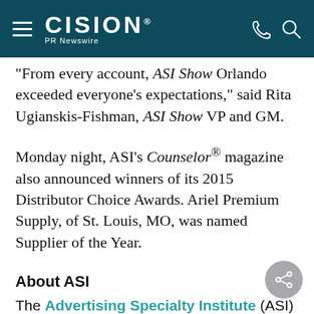CISION PR Newswire
"From every account, ASI Show Orlando exceeded everyone's expectations," said Rita Ugianskis-Fishman, ASI Show VP and GM.
Monday night, ASI's Counselor® magazine also announced winners of its 2015 Distributor Choice Awards. Ariel Premium Supply, of St. Louis, MO, was named Supplier of the Year.
About ASI
The Advertising Specialty Institute (ASI) is the largest media, marketing and education organization ser...